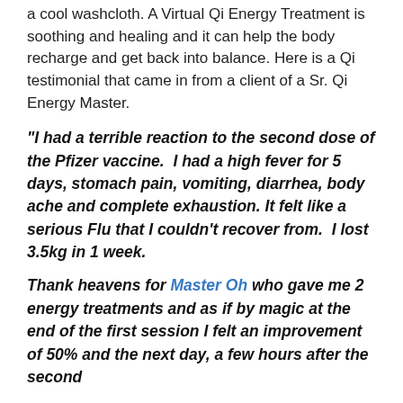a cool washcloth. A Virtual Qi Energy Treatment is soothing and healing and it can help the body recharge and get back into balance. Here is a Qi testimonial that came in from a client of a Sr. Qi Energy Master.
"I had a terrible reaction to the second dose of the Pfizer vaccine. I had a high fever for 5 days, stomach pain, vomiting, diarrhea, body ache and complete exhaustion. It felt like a serious Flu that I couldn't recover from. I lost 3.5kg in 1 week.
Thank heavens for Master Oh who gave me 2 energy treatments and as if by magic at the end of the first session I felt an improvement of 50% and the next day, a few hours after the second